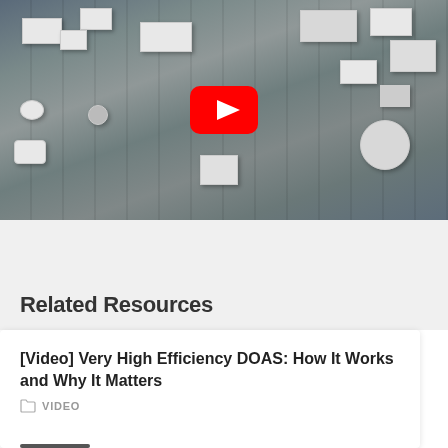[Figure (photo): Aerial/drone view of a commercial building rooftop with multiple HVAC units and equipment. A YouTube play button overlay is centered on the image.]
Related Resources
[Video] Very High Efficiency DOAS: How It Works and Why It Matters
VIDEO